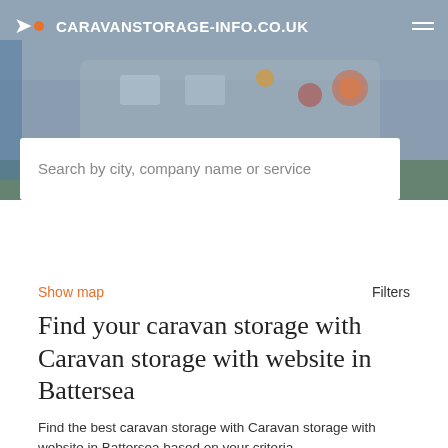CARAVANSTORAGE-INFO.CO.UK
Search by city, company name or service
Show map    Filters
Find your caravan storage with Caravan storage with website in Battersea
Find the best caravan storage with Caravan storage with website in Battersea based on your criteria.
Add your company    It's free